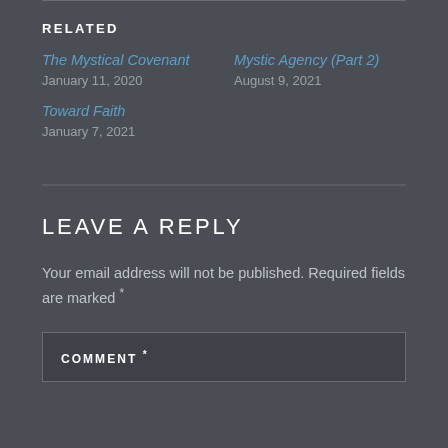RELATED
The Mystical Covenant
January 11, 2020
Mystic Agency (Part 2)
August 9, 2021
Toward Faith
January 7, 2021
LEAVE A REPLY
Your email address will not be published. Required fields are marked *
COMMENT *